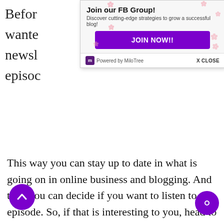[Figure (screenshot): A popup banner for joining a Facebook Group, powered by MiloTree. Title: 'Join our FB Group!', subtitle: 'Discover cutting-edge strategies to grow a successful blog!', with a purple 'JOIN NOW!!' button and pink sakura flower decorations. Footer shows MiloTree logo and 'X CLOSE' link.]
This way you can stay up to date in what is going on in online business and blogging. And then you can decide if you want to listen to the episode. So, if that is interesting to you, head to bloggergenius.com and sign up.
I promise you, my newsletters are short and sweet, and hopefully useful. For today’s episode, I have …ela Preston on the podcast. She’s the founder of Mindful Momma.